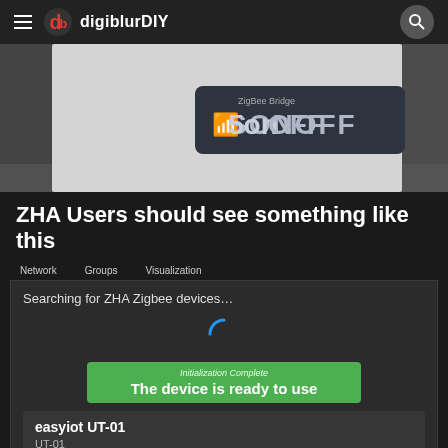digiblurDIY
[Figure (photo): Close-up photo of a SONOFF ZigBee Bridge device with its label visible on a grey metal surface]
ZHA Users should see something like this
[Figure (screenshot): Screenshot of ZHA interface showing tabs: Network, Groups, Visualization. Below shows 'Searching for ZHA Zigbee devices...' with a loading spinner, a green card saying 'Initialization Complete - The device is ready to use', and a device card showing 'easyiot UT-01' with model 'UT-01 by easyiot']